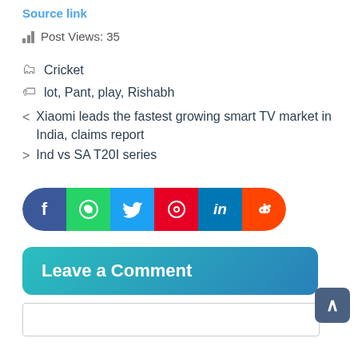Source link
Post Views: 35
Cricket
lot, Pant, play, Rishabh
< Xiaomi leads the fastest growing smart TV market in India, claims report
> Ind vs SA T20I series
[Figure (infographic): Social share bar with icons for Facebook, WhatsApp, Twitter, Pinterest, LinkedIn, Reddit]
Leave a Comment
Comment textarea input box